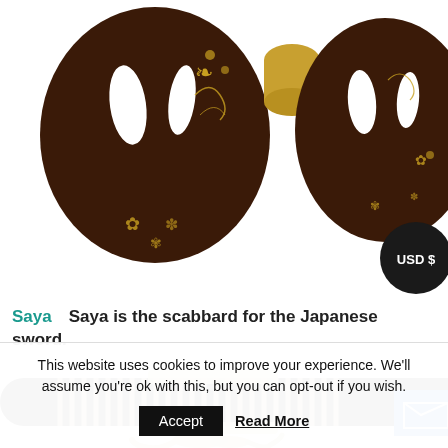[Figure (photo): Two dark brown tsuba (Japanese sword guards) with gold floral decorations, with a small gold cylindrical piece between them, on white background. A circular dark badge with 'USD $' text overlaid at lower right.]
Saya　Saya is the scabbard for the Japanese sword.
[Figure (photo): Close-up photo of a Japanese sword saya (scabbard) wrapped in black cord with a beige/cream sageo (cord) tied around it, on white background.]
This website uses cookies to improve your experience. We'll assume you're ok with this, but you can opt-out if you wish.
Accept    Read More